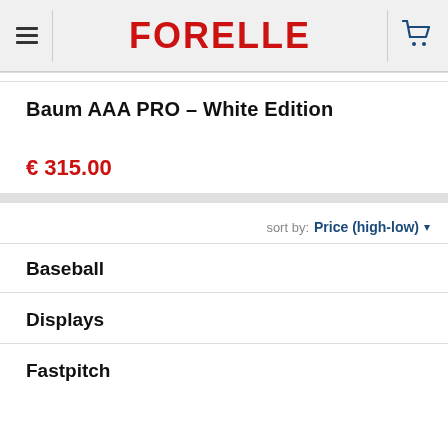FORELLE
Baum AAA PRO – White Edition
€ 315.00
sort by: Price (high-low)
Baseball
Displays
Fastpitch